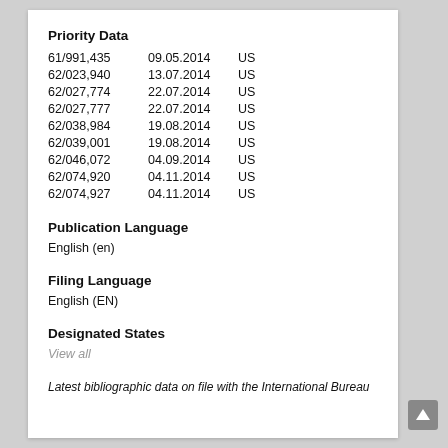Priority Data
| Application | Date | Country |
| --- | --- | --- |
| 61/991,435 | 09.05.2014 | US |
| 62/023,940 | 13.07.2014 | US |
| 62/027,774 | 22.07.2014 | US |
| 62/027,777 | 22.07.2014 | US |
| 62/038,984 | 19.08.2014 | US |
| 62/039,001 | 19.08.2014 | US |
| 62/046,072 | 04.09.2014 | US |
| 62/074,920 | 04.11.2014 | US |
| 62/074,927 | 04.11.2014 | US |
Publication Language
English (en)
Filing Language
English (EN)
Designated States
View all
Latest bibliographic data on file with the International Bureau